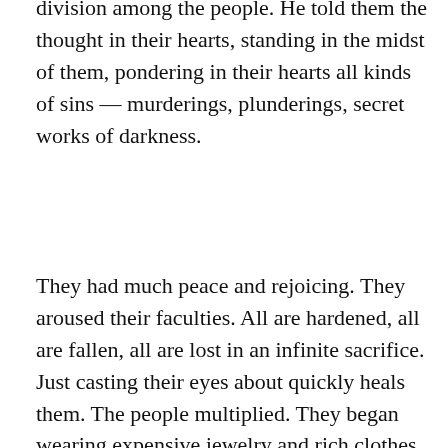division among the people. He told them the thought in their hearts, standing in the midst of them, pondering in their hearts all kinds of sins — murderings, plunderings, secret works of darkness.
They had much peace and rejoicing. They aroused their faculties. All are hardened, all are fallen, all are lost in an infinite sacrifice. Just casting their eyes about quickly heals them. The people multiplied. They began wearing expensive jewelry and rich clothes. They lifted themselves up in pride. They acted according to their wills and pleasures. They laid him on a bed. His heart was